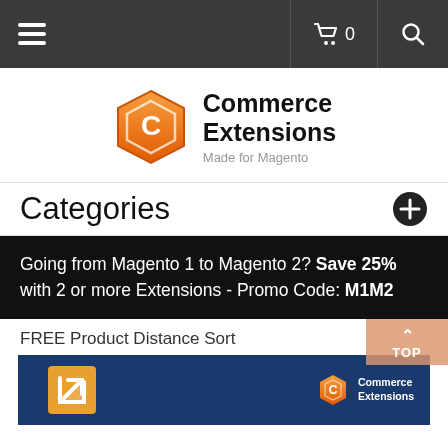Navigation bar with hamburger menu, cart (0), and search icon
[Figure (logo): Commerce Extensions - Made for Magento logo with orange hexagon icon]
Categories
Going from Magento 1 to Magento 2? Save 25% with 2 or more Extensions - Promo Code: M1M2
FREE Product Distance Sort
[Figure (screenshot): Product image on dark blue background with orange arrow icon and Commerce Extensions logo]